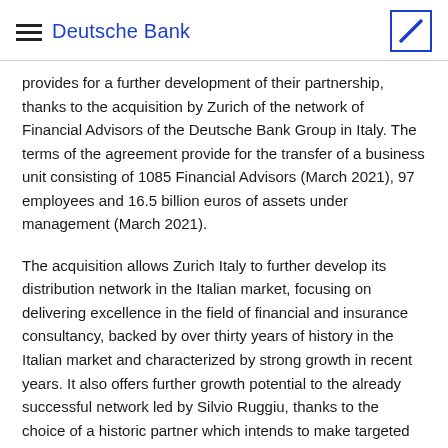Deutsche Bank
provides for a further development of their partnership, thanks to the acquisition by Zurich of the network of Financial Advisors of the Deutsche Bank Group in Italy. The terms of the agreement provide for the transfer of a business unit consisting of 1085 Financial Advisors (March 2021), 97 employees and 16.5 billion euros of assets under management (March 2021).
The acquisition allows Zurich Italy to further develop its distribution network in the Italian market, focusing on delivering excellence in the field of financial and insurance consultancy, backed by over thirty years of history in the Italian market and characterized by strong growth in recent years. It also offers further growth potential to the already successful network led by Silvio Ruggiu, thanks to the choice of a historic partner which intends to make targeted investments into the strong advisory capabilities of the network.